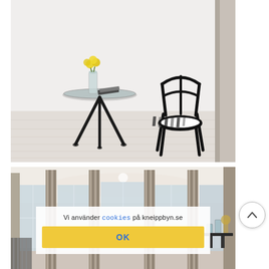[Figure (photo): Interior photo of a minimalist room with white walls and light wood floor. A black metal tripod side table with a glass top holds yellow flowers in a vase and books. A black wooden chair with zebra-stripe upholstered seat is placed to the right.]
[Figure (photo): Interior photo of a bay window room with tall striped curtains in beige/brown tones, large windows, and modern furniture including dark side tables with glassware.]
Vi använder cookies på kneippbyn.se
OK